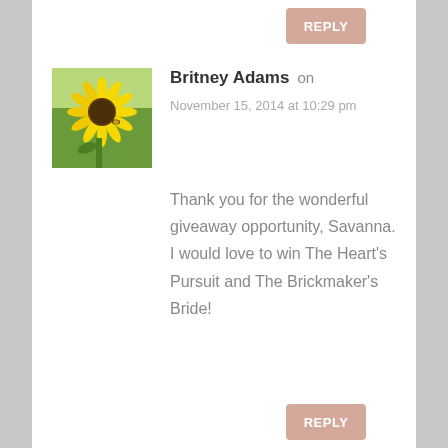[Figure (other): REPLY button at top, partially visible, salmon/dusty pink color]
[Figure (photo): Sunflower photo used as avatar/profile picture for Britney Adams]
Britney Adams on
November 15, 2014 at 10:29 pm
Thank you for the wonderful giveaway opportunity, Savanna. I would love to win The Heart's Pursuit and The Brickmaker's Bride!
[Figure (other): REPLY button at bottom, salmon/dusty pink color]